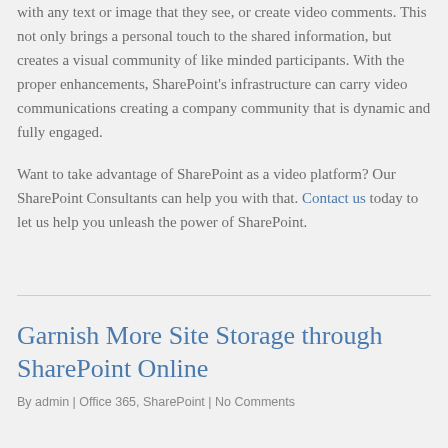with any text or image that they see, or create video comments. This not only brings a personal touch to the shared information, but creates a visual community of like minded participants. With the proper enhancements, SharePoint's infrastructure can carry video communications creating a company community that is dynamic and fully engaged.
Want to take advantage of SharePoint as a video platform? Our SharePoint Consultants can help you with that. Contact us today to let us help you unleash the power of SharePoint.
Garnish More Site Storage through SharePoint Online
By admin | Office 365, SharePoint | No Comments